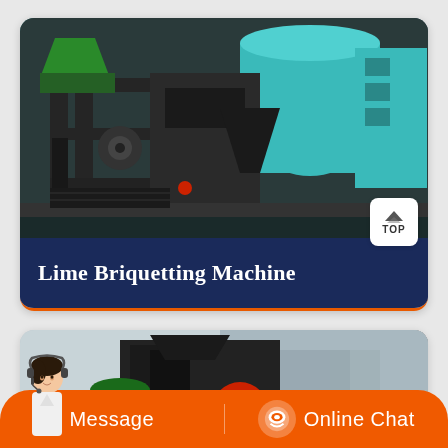[Figure (photo): Industrial lime briquetting machine with teal/blue-green and dark grey metal components, rollers, and hoppers]
Lime Briquetting Machine
[Figure (photo): Close-up of industrial briquetting machine with dark metal frame, green and red components in an outdoor facility]
Message
Online Chat